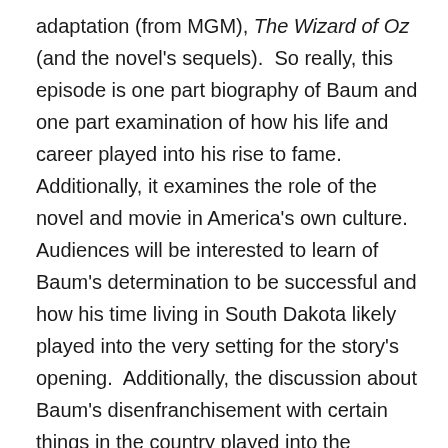adaptation (from MGM), The Wizard of Oz (and the novel's sequels).  So really, this episode is one part biography of Baum and one part examination of how his life and career played into his rise to fame.  Additionally, it examines the role of the novel and movie in America's own culture.  Audiences will be interested to learn of Baum's determination to be successful and how his time living in South Dakota likely played into the very setting for the story's opening.  Additionally, the discussion about Baum's disenfranchisement with certain things in the country played into the original story of Oz's Emerald City makes for its own interest.  Even more noteworthy is the duality in Baum himself.  On one hand, he was clearly ahead of his time in his support for women's rights.  That social and political leaning is believed to have played into the story of Oz.  On another hand, according to the information